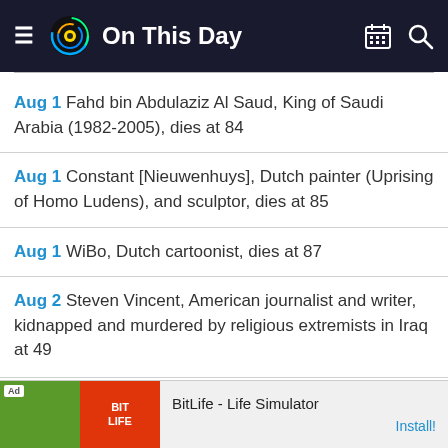On This Day
Aug 1 Fahd bin Abdulaziz Al Saud, King of Saudi Arabia (1982-2005), dies at 84
Aug 1 Constant [Nieuwenhuys], Dutch painter (Uprising of Homo Ludens), and sculptor, dies at 85
Aug 1 WiBo, Dutch cartoonist, dies at 87
Aug 2 Steven Vincent, American journalist and writer, kidnapped and murdered by religious extremists in Iraq at 49
Ad BitLife - Life Simulator Install!